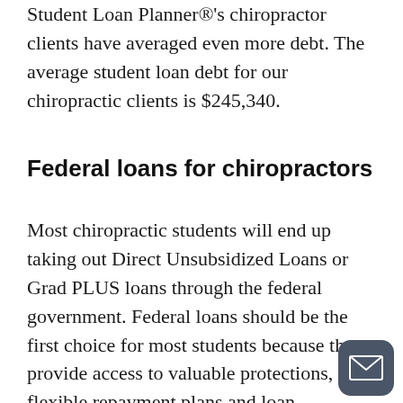Student Loan Planner®'s chiropractor clients have averaged even more debt. The average student loan debt for our chiropractic clients is $245,340.
Federal loans for chiropractors
Most chiropractic students will end up taking out Direct Unsubsidized Loans or Grad PLUS loans through the federal government. Federal loans should be the first choice for most students because they provide access to valuable protections, flexible repayment plans and loan forgiveness programs.